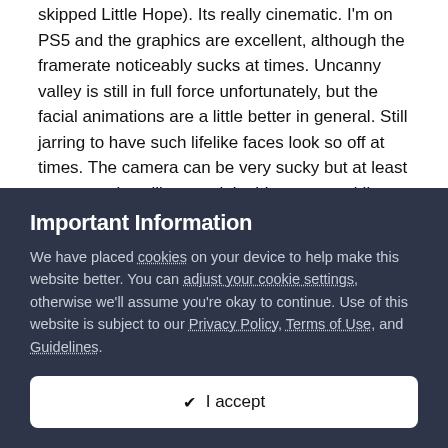skipped Little Hope). Its really cinematic. I'm on PS5 and the graphics are excellent, although the framerate noticeably sucks at times. Uncanny valley is still in full force unfortunately, but the facial animations are a little better in general. Still jarring to have such lifelike faces look so off at times. The camera can be very sucky but at least you move less like a tank in this game and I've just come to some rather nice third person segment where the movement and camera control feel like a proper 3rd person game. The music is much better in this than previous titles, really feels like a big budget film score.

Gameplay-wise the formula is unchanged as you'd expect, but
Important Information
We have placed cookies on your device to help make this website better. You can adjust your cookie settings, otherwise we'll assume you're okay to continue. Use of this website is subject to our Privacy Policy, Terms of Use, and Guidelines.
✔ I accept